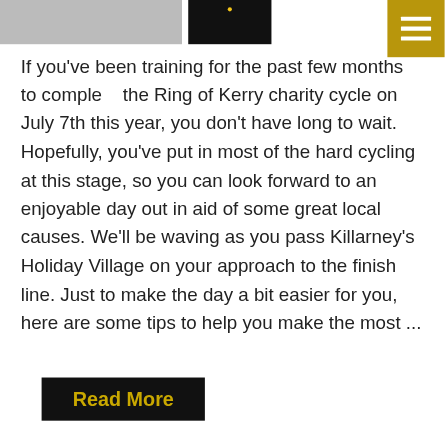[Figure (photo): Top banner images: a grey/light photo on left and a dark image on right with a small dot, partially obscured by menu button]
[Figure (other): Gold/mustard colored hamburger menu button in top right corner with three white horizontal bars]
If you've been training for the past few months to complete the Ring of Kerry charity cycle on July 7th this year, you don't have long to wait. Hopefully, you've put in most of the hard cycling at this stage, so you can look forward to an enjoyable day out in aid of some great local causes. We'll be waving as you pass Killarney's Holiday Village on your approach to the finish line. Just to make the day a bit easier for you, here are some tips to help you make the most ...
Read More
Killarney Races 2018
[Figure (photo): Partial bottom image showing a green outdoor scene with a red figure, inside a light grey bordered container]